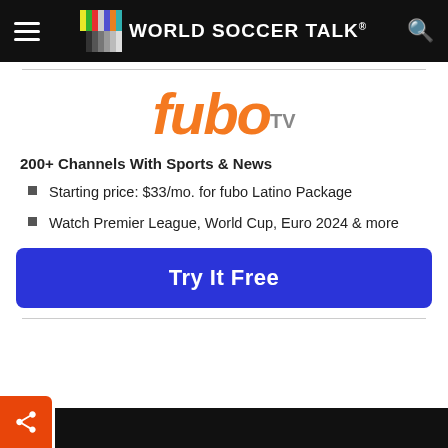World Soccer Talk
[Figure (logo): fuboTV logo in orange italic font with grey TV superscript]
200+ Channels With Sports & News
Starting price: $33/mo. for fubo Latino Package
Watch Premier League, World Cup, Euro 2024 & more
Try It Free